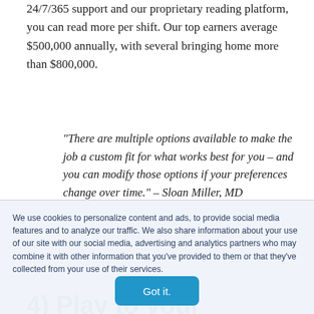24/7/365 support and our proprietary reading platform, you can read more per shift. Our top earners average $500,000 annually, with several bringing home more than $800,000.
“There are multiple options available to make the job a custom fit for what works best for you – and you can modify those options if your preferences change over time.” – Sloan Miller, MD
4) Play to your
We use cookies to personalize content and ads, to provide social media features and to analyze our traffic. We also share information about your use of our site with our social media, advertising and analytics partners who may combine it with other information that you’ve provided to them or that they’ve collected from your use of their services.
Got it.